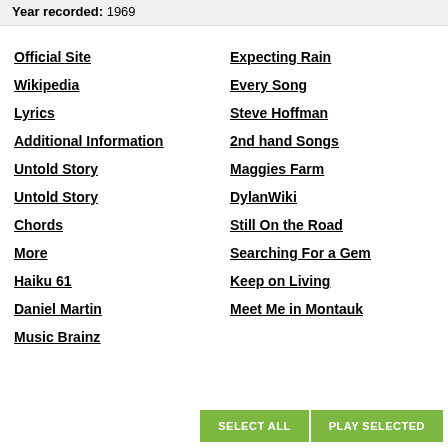Year recorded: 1969
Official Site
Expecting Rain
Wikipedia
Every Song
Lyrics
Steve Hoffman
Additional Information
2nd hand Songs
Untold Story
Maggies Farm
Untold Story
DylanWiki
Chords
Still On the Road
More
Searching For a Gem
Haiku 61
Keep on Living
Daniel Martin
Meet Me in Montauk
Music Brainz
SELECT ALL   PLAY SELECTED